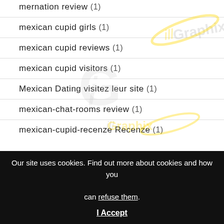mernation review (1)
mexican cupid girls (1)
mexican cupid reviews (1)
mexican cupid visitors (1)
Mexican Dating visitez leur site (1)
mexican-chat-rooms review (1)
mexican-cupid-recenze Recenze (1)
Our site uses cookies. Find out more about cookies and how you can refuse them.
I Accept